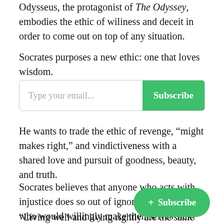Odysseus, the protagonist of The Odyssey, embodies the ethic of wiliness and deceit in order to come out on top of any situation.
Socrates purposes a new ethic: one that loves wisdom.
[Figure (other): Email subscription input box with placeholder 'Type your email...' and a green 'Subscribe' button]
He wants to trade the ethic of revenge, “might makes right,” and vindictiveness with a shared love and pursuit of goodness, beauty, and truth.
Socrates believes that anyone who acts with injustice does so out of ignorance—after all, who would willingly make themselves sick? Who would knowingly choose sickness of the soul?
“Living well and living rightly are the same thing,”
[Figure (other): Floating green pill-shaped button with '+ Subscribe' text]